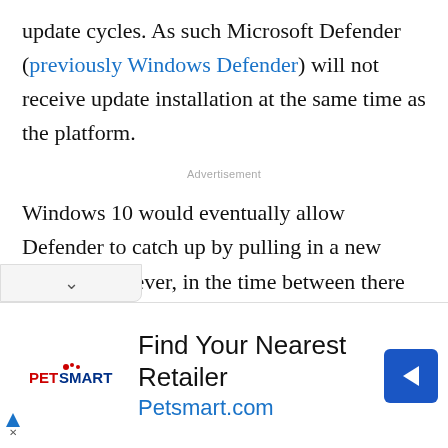update cycles. As such Microsoft Defender (previously Windows Defender) will not receive update installation at the same time as the platform.
Advertisement
Windows 10 would eventually allow Defender to catch up by pulling in a new update. However, in the time between there will be what Microsoft is calling a “protection gap.”
[Figure (other): PetSmart advertisement banner: Find Your Nearest Retailer, Petsmart.com, with PetSmart logo and a blue navigation arrow icon]